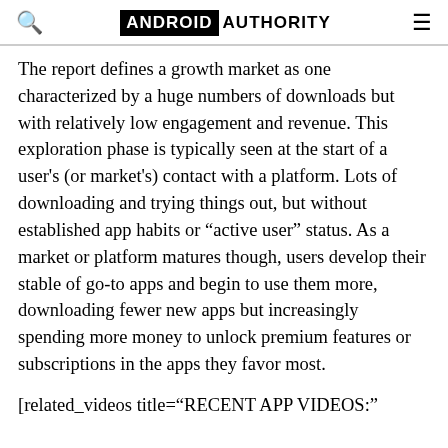ANDROID AUTHORITY
The report defines a growth market as one characterized by a huge numbers of downloads but with relatively low engagement and revenue. This exploration phase is typically seen at the start of a user's (or market's) contact with a platform. Lots of downloading and trying things out, but without established app habits or “active user” status. As a market or platform matures though, users develop their stable of go-to apps and begin to use them more, downloading fewer new apps but increasingly spending more money to unlock premium features or subscriptions in the apps they favor most.
[related_videos title="RECENT APP VIDEOS:"